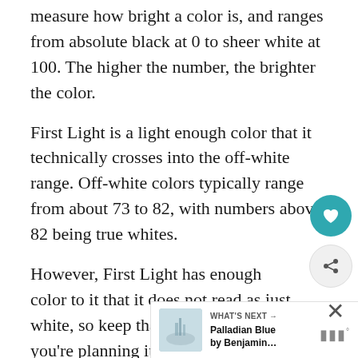measure how bright a color is, and ranges from absolute black at 0 to sheer white at 100. The higher the number, the brighter the color.
First Light is a light enough color that it technically crosses into the off-white range. Off-white colors typically range from about 73 to 82, with numbers above 82 being true whites.
However, First Light has enough color to it that it does not read as just white, so keep that in mind when you're planning its placement.
What Undertones Does First Light
H